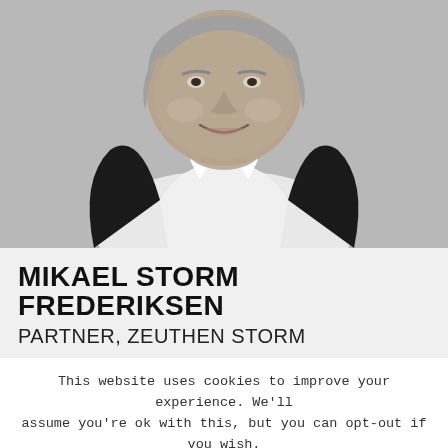[Figure (photo): Black and white professional portrait photograph of a middle-aged man in a dark suit jacket and white open-collar shirt, smiling, against a light grey background.]
MIKAEL STORM FREDERIKSEN
PARTNER, ZEUTHEN STORM
This website uses cookies to improve your experience. We'll assume you're ok with this, but you can opt-out if you wish.
Accept  Read More